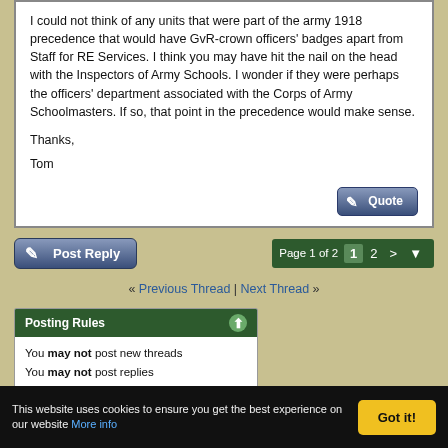I could not think of any units that were part of the army 1918 precedence that would have GvR-crown officers' badges apart from Staff for RE Services. I think you may have hit the nail on the head with the Inspectors of Army Schools. I wonder if they were perhaps the officers' department associated with the Corps of Army Schoolmasters. If so, that point in the precedence would make sense.
Thanks,
Tom
[Figure (screenshot): Quote button - blue gradient button with pen icon]
[Figure (screenshot): Post Reply button - blue gradient button with pen icon]
Page 1 of 2  1  2  >  ▼
« Previous Thread | Next Thread »
Posting Rules
You may not post new threads
You may not post replies
You may not post attachments
You may not edit your posts
BB code is On
This website uses cookies to ensure you get the best experience on our website More info